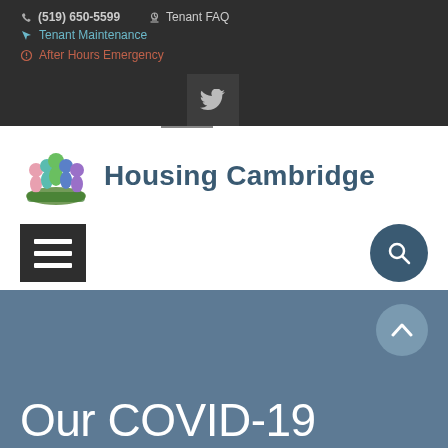(519) 650-5599   Tenant FAQ   Tenant Maintenance   After Hours Emergency
[Figure (screenshot): Twitter social media button icon in dark square]
[Figure (logo): Housing Cambridge logo with colorful people icon and dark teal text]
[Figure (screenshot): Hamburger menu button (dark square with three white lines) and circular teal search button]
Our COVID-19